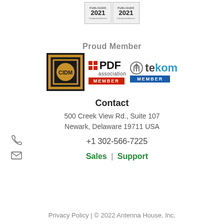[Figure (logo): Two ComponentSource Publisher 2021 badge logos side by side]
Proud Member
[Figure (logo): CIDM logo, PDF Association Member logo, and tekom Member logo arranged in a row]
Contact
500 Creek View Rd., Suite 107
Newark, Delaware 19711 USA
+1 302-566-7225
Sales | Support
Privacy Policy | © 2022 Antenna House, Inc.